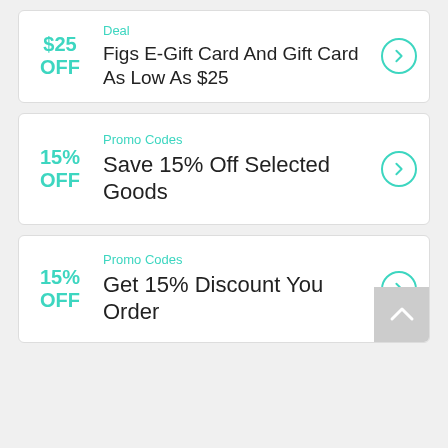$25 OFF
Deal
Figs E-Gift Card And Gift Card As Low As $25
15% OFF
Promo Codes
Save 15% Off Selected Goods
15% OFF
Promo Codes
Get 15% Discount You Order